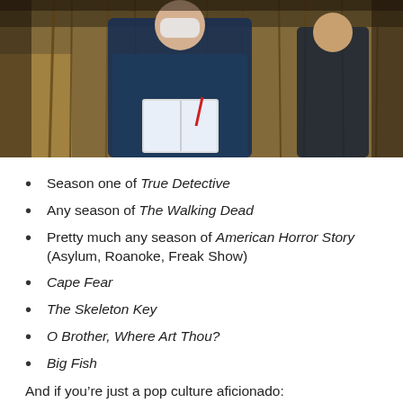[Figure (photo): Two people standing outdoors near dried corn or reed stalks. The person in the foreground wears a dark blue jacket and holds an open notebook/binder with a red pen. A second person stands in the background wearing a dark jacket.]
Season one of True Detective
Any season of The Walking Dead
Pretty much any season of American Horror Story (Asylum, Roanoke, Freak Show)
Cape Fear
The Skeleton Key
O Brother, Where Art Thou?
Big Fish
And if you’re just a pop culture aficionado: